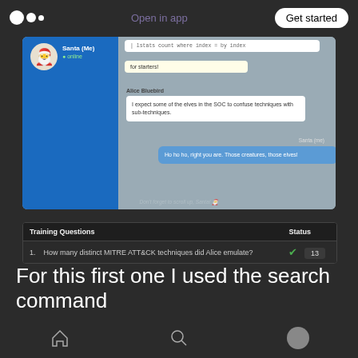Open in app | Get started
[Figure (screenshot): Chat conversation screenshot showing Santa (Me) online on left panel, with chat messages: a query bubble, 'for starters!', Alice Bluebird message about elves in SOC confusing techniques with sub-techniques, and Santa's reply 'Ho ho ho, right you are. Those creatures, those elves!' with scroll hint at bottom.]
| Training Questions | Status |
| --- | --- |
| 1.   How many distinct MITRE ATT&CK techniques did Alice emulate? | ✓  13 |
For this first one I used the search command
Home | Search | Profile